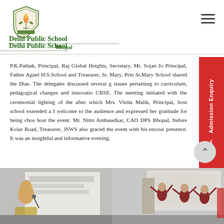[Figure (logo): Delhi Public School Bhopal shield/crest logo with green and tan colors]
Delhi Public School
Bhopal
P.K.Pathak, Principal, Raj Global Heights, Secretary, Mr. Sojan Jo Principal, Father Agnel H.S.School and Treasurer, Sr. Mary, Prin St.Mary School shared the Dias. The delegates discussed several g issues pertaining to curriculum, pedagogical changes and innovatio CBSE. The meeting initiated with the ceremonial lighting of the after which Mrs. Vinita Malik, Principal, host school extended a f welcome to the audience and expressed her gratitude for being chos host the event. Mr. Nitin Ambaselkar, CAO DPS Bhopal, Indore Kolar Road, Treasurer, JSWS also graced the event with his encour presence. It was an insightful and informative evening.
[Figure (photo): Woman in yellow dress speaking at microphone with presentation screen behind her]
[Figure (photo): Performers in red and black on stage with presentation screen in background]